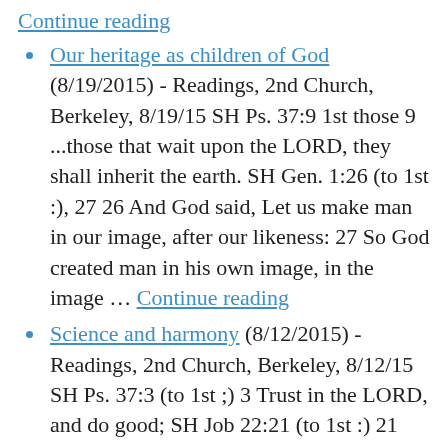Continue reading
Our heritage as children of God (8/19/2015) - Readings, 2nd Church, Berkeley, 8/19/15 SH Ps. 37:9 1st those 9 ...those that wait upon the LORD, they shall inherit the earth. SH Gen. 1:26 (to 1st :), 27 26 And God said, Let us make man in our image, after our likeness: 27 So God created man in his own image, in the image ... Continue reading
Science and harmony (8/12/2015) - Readings, 2nd Church, Berkeley, 8/12/15 SH Ps. 37:3 (to 1st ;) 3 Trust in the LORD, and do good; SH Job 22:21 (to 1st :) 21 Acquaint now thyself with him, and be at peace: SH Isa. 66:10, 12 (to 1st :), 13 10 Rejoice ye with Jerusalem, and be glad with her, all ye ... Continue reading